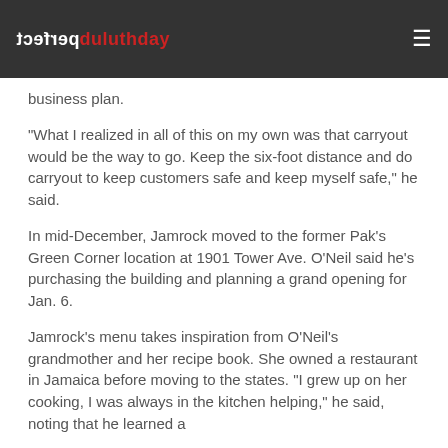perfectduluthday
business plan.
“What I realized in all of this on my own was that carryout would be the way to go. Keep the six-foot distance and do carryout to keep customers safe and keep myself safe,” he said.
In mid-December, Jamrock moved to the former Pak’s Green Corner location at 1901 Tower Ave. O’Neil said he’s purchasing the building and planning a grand opening for Jan. 6.
Jamrock’s menu takes inspiration from O’Neil’s grandmother and her recipe book. She owned a restaurant in Jamaica before moving to the states. “I grew up on her cooking, I was always in the kitchen helping,” he said, noting that he learned a